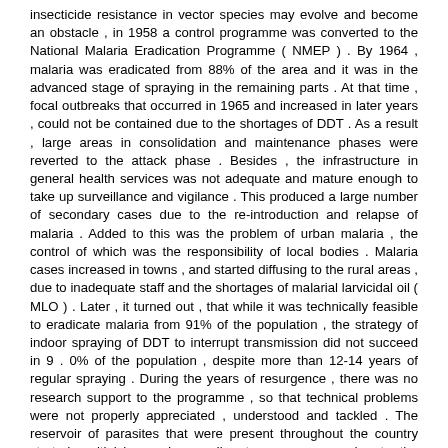insecticide resistance in vector species may evolve and become an obstacle , in 1958 a control programme was converted to the National Malaria Eradication Programme ( NMEP ) . By 1964 , malaria was eradicated from 88% of the area and it was in the advanced stage of spraying in the remaining parts . At that time , focal outbreaks that occurred in 1965 and increased in later years , could not be contained due to the shortages of DDT . As a result , large areas in consolidation and maintenance phases were reverted to the attack phase . Besides , the infrastructure in general health services was not adequate and mature enough to take up surveillance and vigilance . This produced a large number of secondary cases due to the re-introduction and relapse of malaria . Added to this was the problem of urban malaria , the control of which was the responsibility of local bodies . Malaria cases increased in towns , and started diffusing to the rural areas , due to inadequate staff and the shortages of malarial larvicidal oil ( MLO ) . Later , it turned out , that while it was technically feasible to eradicate malaria from 91% of the population , the strategy of indoor spraying of DDT to interrupt transmission did not succeed in 9 . 0% of the population , despite more than 12-14 years of regular spraying . During the years of resurgence , there was no research support to the programme , so that technical problems were not properly appreciated , understood and tackled . The reservoir of parasites that were present throughout the country started multiplying and spreading to newer areas due to the presence of vectors in high densities . Thus malaria resurged and re-established itself even in areas that were at one time freed from the disease . The analysis of the pattern of malaria resurgence revealed that malaria outbreaks preceded the true problem of insecticide resistance . It is noteworthy to mention that malaria resurgence occurred in towns where the control measures were non-insecticidal and in regions which were not under the influence of insecticide-resistant vectors . The study also revealed that